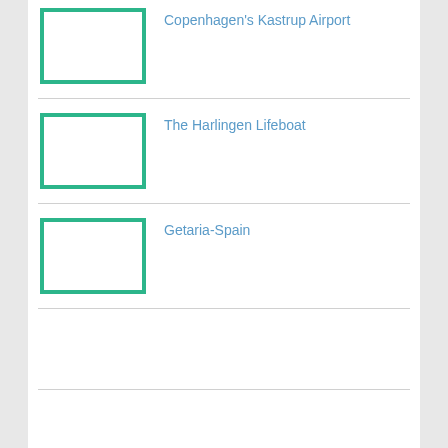Copenhagen's Kastrup Airport
The Harlingen Lifeboat
Getaria-Spain